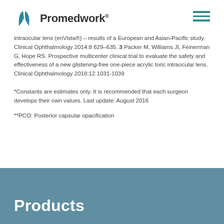Promedwork®
intraocular lens (enVista®) – results of a European and Asian-Pacific study. Clinical Ophthalmology 2014:8 629–635. 3 Packer M, Williams JI, Feinerman G, Hope RS. Prospective multicenter clinical trial to evaluate the safety and effectiveness of a new glistening-free one-piece acrylic toric intraocular lens. Clinical Ophthalmology 2018:12 1031-1039
*Constants are estimates only. It is recommended that each surgeon develops their own values. Last update: August 2016
**PCO: Posterior capsular opacification
Products